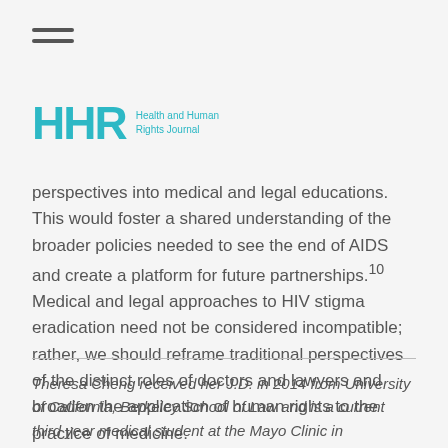[Figure (logo): HHR Health and Human Rights Journal logo with hamburger menu icon]
perspectives into medical and legal educations. This would foster a shared understanding of the broader policies needed to see the end of AIDS and create a platform for future partnerships.10 Medical and legal approaches to HIV stigma eradication need not be considered incompatible; rather, we should reframe traditional perspectives of the distinct roles of doctors and lawyers and broaden the application of human rights to the practice of medicine.
Theresa Cheng received her J.D. in 2014 from University of California, Berkeley School of Law and is a current third year medical student at the Mayo Clinic in Rochester, MN, USA.